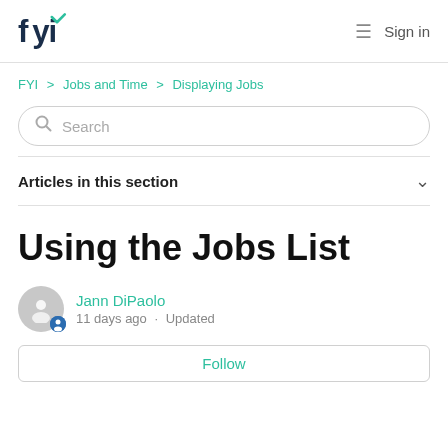FYI logo | Sign in
FYI > Jobs and Time > Displaying Jobs
Search
Articles in this section
Using the Jobs List
Jann DiPaolo
11 days ago · Updated
Follow